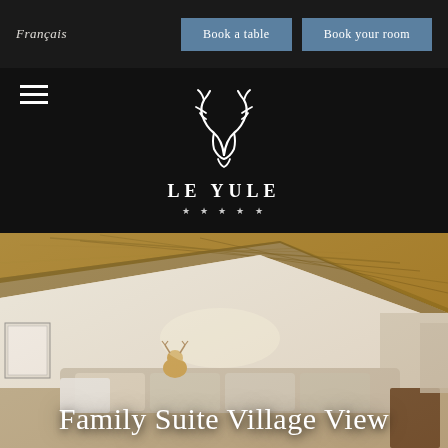Français
Book a table
Book your room
LE YULE
[Figure (photo): Interior room photo showing a cozy alpine suite with exposed wooden ceiling beams, white walls, upholstered sofa with cushions, and a stuffed deer toy]
Family Suite Village View